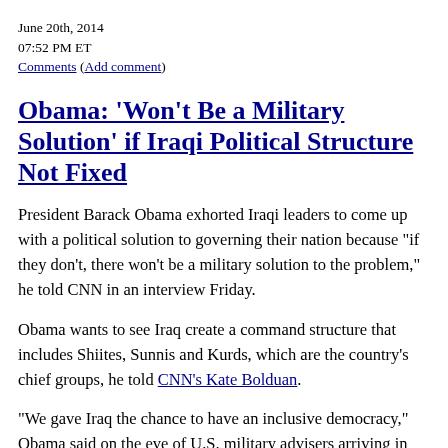June 20th, 2014
07:52 PM ET
Comments (Add comment)
Obama: 'Won't Be a Military Solution' if Iraqi Political Structure Not Fixed
President Barack Obama exhorted Iraqi leaders to come up with a political solution to governing their nation because "if they don't, there won't be a military solution to the problem," he told CNN in an interview Friday.
Obama wants to see Iraq create a command structure that includes Shiites, Sunnis and Kurds, which are the country's chief groups, he told CNN's Kate Bolduan.
"We gave Iraq the chance to have an inclusive democracy," Obama said on the eve of U.S. military advisers arriving in Iraq to help the government besieged by militant extremists.
Sunni militants have crossed over from northern Syria to blitz major Iraqi cities. Hundreds of thousands of civilians have fled